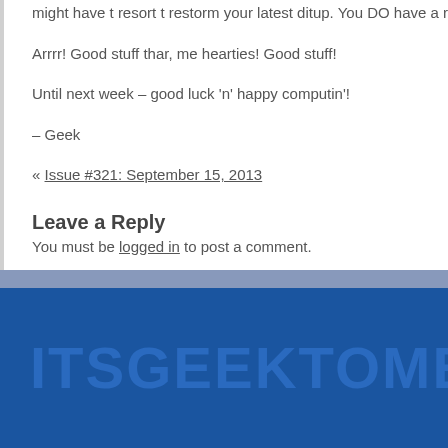might have t resort t restorm your latest ditup. You DO have a recent ditup, do...
Arrrr!  Good stuff thar, me hearties!  Good stuff!
Until next week – good luck 'n' happy computin'!
– Geek
« Issue #321: September 15, 2013
Leave a Reply
You must be logged in to post a comment.
[Figure (other): Blue footer banner with ITSGEEKTOME.CO watermark text]